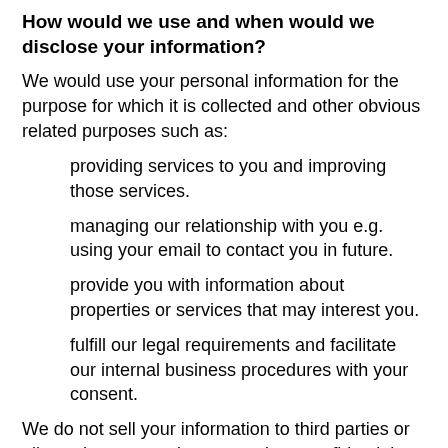How would we use and when would we disclose your information?
We would use your personal information for the purpose for which it is collected and other obvious related purposes such as:
providing services to you and improving those services.
managing our relationship with you e.g. using your email to contact you in future.
provide you with information about properties or services that may interest you.
fulfill our legal requirements and facilitate our internal business procedures with your consent.
We do not sell your information to third parties or allow others to use it, we treat it as confidential.
Integrity of information
We take reasonable steps to ensure that the personal information is accurate and shall delete